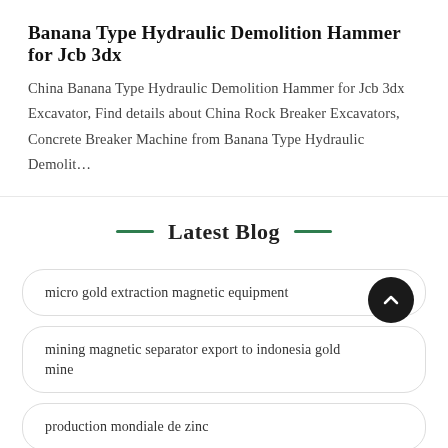Banana Type Hydraulic Demolition Hammer for Jcb 3dx
China Banana Type Hydraulic Demolition Hammer for Jcb 3dx Excavator, Find details about China Rock Breaker Excavators, Concrete Breaker Machine from Banana Type Hydraulic Demolit…
Latest Blog
micro gold extraction magnetic equipment
mining magnetic separator export to indonesia gold mine
production mondiale de zinc